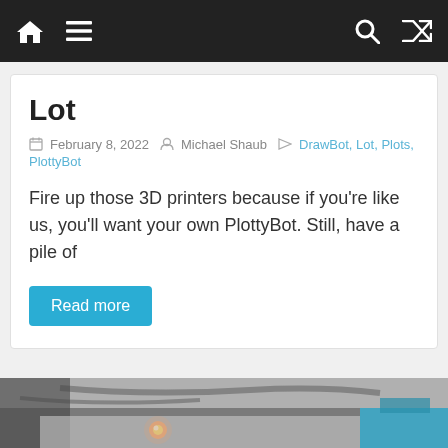Navigation bar with home, menu, search, and shuffle icons
Lot
February 8, 2022  Michael Shaub  DrawBot, Lot, Plots, PlottyBot
Fire up those 3D printers because if you're like us, you'll want your own PlottyBot. Still, have a pile of
Read more
[Figure (photo): Photo showing a 3D printer or drawing robot in action with a glowing orange light, partial view of blue component, on a gray background surface]